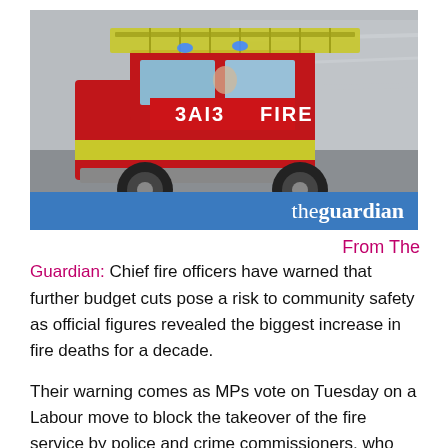[Figure (photo): A red UK fire engine (fire truck) with yellow chevrons and a ladder on top, moving at speed. The truck has 'FIRE' written on the front and its mirror image '3AI3'. Below the photo is a blue banner with 'theguardian' logo in white.]
From The Guardian: Chief fire officers have warned that further budget cuts pose a risk to community safety as official figures revealed the biggest increase in fire deaths for a decade.
Their warning comes as MPs vote on Tuesday on a Labour move to block the takeover of the fire service by police and crime commissioners, who face election next month.
The latest figures from the Department for